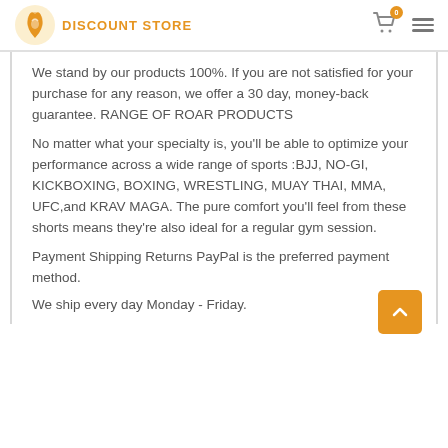DISCOUNT STORE
We stand by our products 100%. If you are not satisfied for your purchase for any reason, we offer a 30 day, money-back guarantee. RANGE OF ROAR PRODUCTS
No matter what your specialty is, you'll be able to optimize your performance across a wide range of sports :BJJ, NO-GI, KICKBOXING, BOXING, WRESTLING, MUAY THAI, MMA, UFC,and KRAV MAGA. The pure comfort you'll feel from these shorts means they're also ideal for a regular gym session.
Payment Shipping Returns PayPal is the preferred payment method.
We ship every day Monday - Friday.